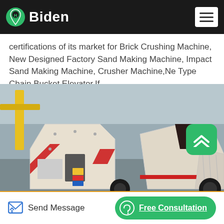Biden
certifications of its market for Brick Crushing Machine, New Designed Factory Sand Making Machine, Impact Sand Making Machine, Crusher Machine,Ne Type Chain Bucket Elevator.If...
[Figure (photo): Industrial hammer/impact crusher machines in white and red paint inside a factory/warehouse setting with yellow overhead crane visible]
Send Message | Free Consultation